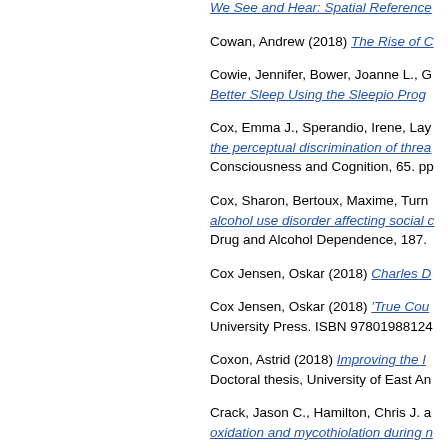We See and Hear: Spatial Reference... (truncated link)
Cowan, Andrew (2018) The Rise of C...
Cowie, Jennifer, Bower, Joanne L., G... Better Sleep Using the Sleepio Prog...
Cox, Emma J., Sperandio, Irene, Lay... the perceptual discrimination of threa... Consciousness and Cognition, 65. pp...
Cox, Sharon, Bertoux, Maxime, Turn... alcohol use disorder affecting social c... Drug and Alcohol Dependence, 187.
Cox Jensen, Oskar (2018) Charles D...
Cox Jensen, Oskar (2018) 'True Cou... University Press. ISBN 97801988124...
Coxon, Astrid (2018) Improving the I... Doctoral thesis, University of East An...
Crack, Jason C., Hamilton, Chris J. a... oxidation and mycothiolation during n... pp. 5992-5995. ISSN 1359-7345
Crack, Jason C. and Le Brun, Nick B... Signaling, 29 (18). pp. 1809-1829. IS...
Crandon, Saul, Westenberg, Jos, J...